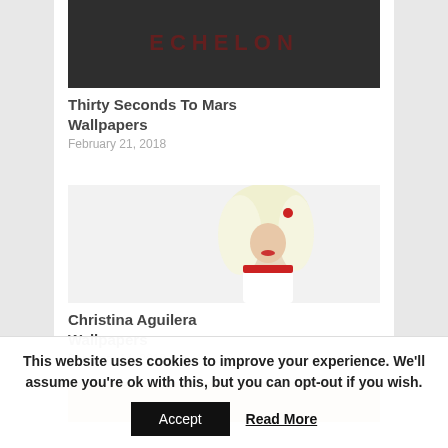[Figure (photo): Dark background image partially visible at top, Thirty Seconds To Mars wallpaper thumbnail]
Thirty Seconds To Mars Wallpapers
February 21, 2018
[Figure (photo): Christina Aguilera photo - blonde woman with curly hair, red lips, white outfit]
Christina Aguilera Wallpapers
February 14, 2018
[Figure (photo): Partial image of a blonde person, bottom of page]
This website uses cookies to improve your experience. We'll assume you're ok with this, but you can opt-out if you wish.
Accept
Read More